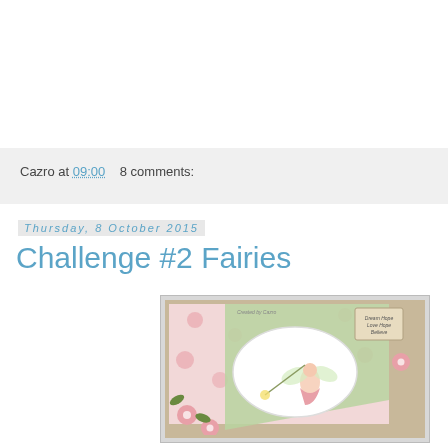Cazro at 09:00   8 comments:
Thursday, 8 October 2015
Challenge #2 Fairies
[Figure (photo): A handmade craft card featuring a fairy illustration in an oval frame, surrounded by pink flowers and green floral patterned paper, with a 'Dream Hope Love Hope Believe' sentiment tag in the corner]